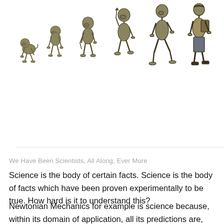[Figure (illustration): Classic 'March of Progress' illustration showing human evolution from knuckle-walking ape through increasingly upright hominids to modern human walking upright, rendered in olive/sepia tones against white background.]
We Have Been Scientists, All Along, Ever More
Science is the body of certain facts. Science is the body of facts which have been proven experimentally to be true. How hard is it to understand this?
Newtonian Mechanics for example is science because, within its domain of application, all its predictions are, and have been proven to be, indeed, what is observed.
Same thing for classical thermodynamics: facts are predicted, and observed to be true, time and time again.